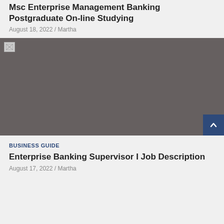Msc Enterprise Management Banking Postgraduate On-line Studying
August 18, 2022 / Martha
[Figure (photo): Placeholder image (broken/unloaded) with dark gray background]
BUSINESS GUIDE
Enterprise Banking Supervisor I Job Description
August 17, 2022 / Martha